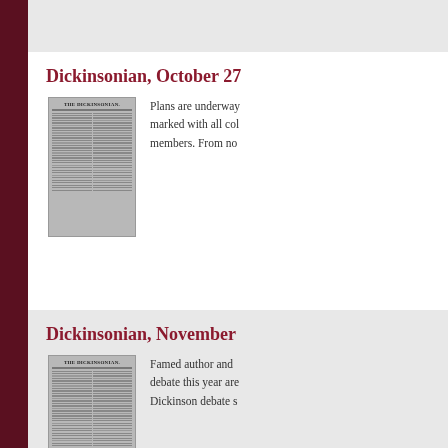Dickinsonian, October 27
[Figure (photo): Black and white image of the Dickinsonian newspaper front page]
Plans are underway marked with all col members. From no
Dickinsonian, November
[Figure (photo): Black and white image of the Dickinsonian newspaper front page]
Famed author and debate this year are Dickinson debate s